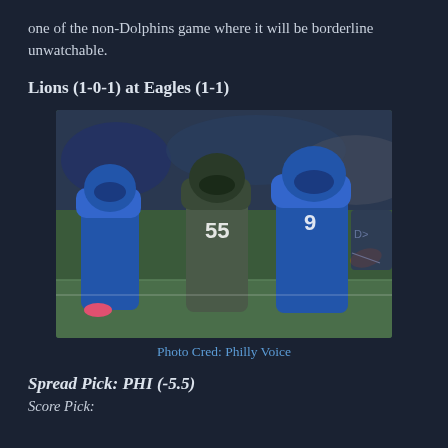one of the non-Dolphins game where it will be borderline unwatchable.
Lions (1-0-1) at Eagles (1-1)
[Figure (photo): Football action photo showing Detroit Lions quarterback #9 scrambling with the ball while an Eagles defender #55 rushes and a Lions offensive lineman attempts to block, on an indoor field. Blue Lions uniforms vs. Eagles grey-green uniform.]
Photo Cred: Philly Voice
Spread Pick: PHI (-5.5)
Score Pick: